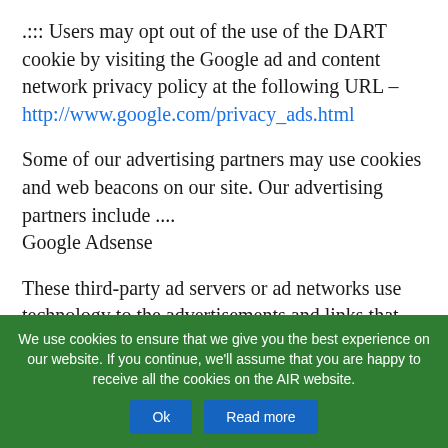.::: Users may opt out of the use of the DART cookie by visiting the Google ad and content network privacy policy at the following URL – http://www.google.com/privacy_ads.html
Some of our advertising partners may use cookies and web beacons on our site. Our advertising partners include ....
Google Adsense
These third-party ad servers or ad networks use technology to the advertisements and links that appear on www.allindiaroundup.com send directly to your browsers.
They automatically receive your IP address when...
We use cookies to ensure that we give you the best experience on our website. If you continue, we'll assume that you are happy to receive all the cookies on the AIR website.